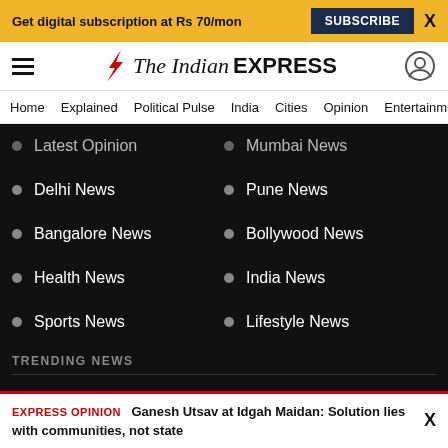Get digital subscription at Rs 70/mon  SUBSCRIBE  X
[Figure (logo): The Indian Express logo with lightning bolt icon, hamburger menu, and user account icon]
Home  Explained  Political Pulse  India  Cities  Opinion  Entertainment
Latest Opinion
Mumbai News
Delhi News
Pune News
Bangalore News
Bollywood News
Health News
India News
Sports News
Lifestyle News
TRENDING NEWS
Horoscope
India News
EXPRESS OPINION Ganesh Utsav at Idgah Maidan: Solution lies with communities, not state  X